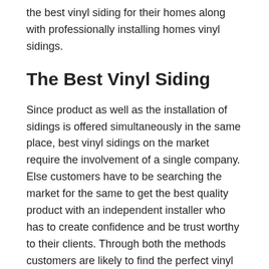the best vinyl siding for their homes along with professionally installing homes vinyl sidings.
The Best Vinyl Siding
Since product as well as the installation of sidings is offered simultaneously in the same place, best vinyl sidings on the market require the involvement of a single company. Else customers have to be searching the market for the same to get the best quality product with an independent installer who has to create confidence and be trust worthy to their clients. Through both the methods customers are likely to find the perfect vinyl siding product for their homes.